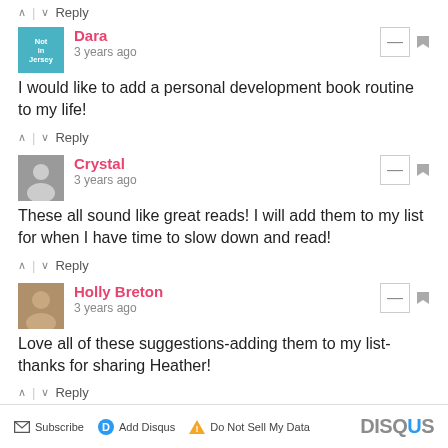↑ | ↓  Reply
Dara — 3 years ago
I would like to add a personal development book routine to my life!
↑ | ↓  Reply
Crystal — 3 years ago
These all sound like great reads! I will add them to my list for when I have time to slow down and read!
↑ | ↓  Reply
Holly Breton — 3 years ago
Love all of these suggestions-adding them to my list- thanks for sharing Heather!
↑ | ↓  Reply
Subscribe  Add Disqus  Do Not Sell My Data   DISQUS